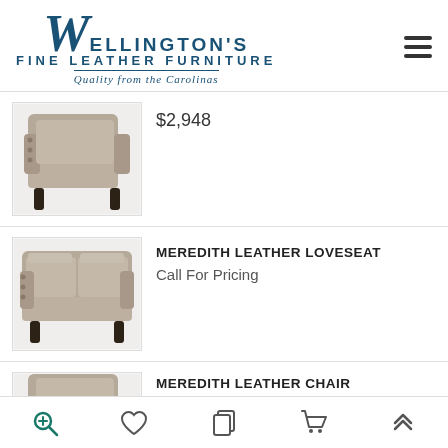[Figure (logo): Wellington's Fine Leather Furniture logo with cursive W and tagline 'Quality from the Carolinas']
[Figure (photo): Meredith Leather Chair product photo - beige/taupe leather chair with dark wooden legs]
$2,948
[Figure (photo): Meredith Leather Loveseat product photo - beige/taupe leather loveseat with dark wooden legs]
MEREDITH LEATHER LOVESEAT
Call For Pricing
[Figure (photo): Meredith Leather Chair product photo - partial view at bottom of page]
MEREDITH LEATHER CHAIR